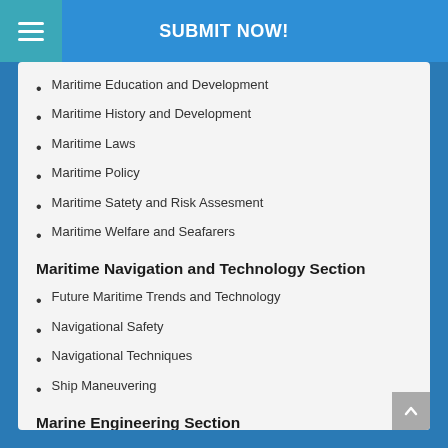SUBMIT NOW!
Maritime Education and Development
Maritime History and Development
Maritime Laws
Maritime Policy
Maritime Safety and Risk Assesment
Maritime Welfare and Seafarers
Maritime Navigation and Technology Section
Future Maritime Trends and Technology
Navigational Safety
Navigational Techniques
Ship Maneuvering
Marine Engineering Section